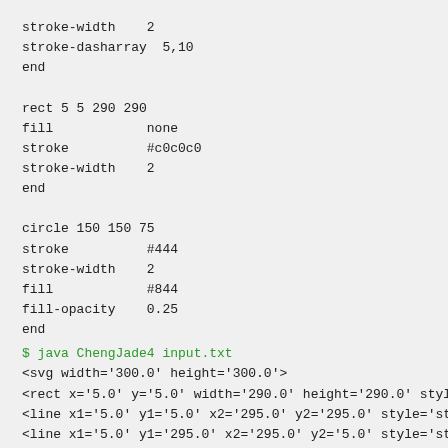stroke-width    2
stroke-dasharray  5,10
end

rect 5 5 290 290
fill            none
stroke          #c0c0c0
stroke-width    2
end

circle 150 150 75
stroke          #444
stroke-width    2
fill            #844
fill-opacity    0.25
end
$ java ChengJade4 input.txt
<svg width='300.0' height='300.0'>
<rect x='5.0' y='5.0' width='290.0' height='290.0' style='fi
<line x1='5.0' y1='5.0' x2='295.0' y2='295.0' style='stroke:
<line x1='5.0' y1='295.0' x2='295.0' y2='5.0' style='stroke:
<rect x='5.0' y='5.0' width='290.0' height='290.0' style='fi
<circle cx='150.0' cy='150.0' r='75.0' style='stroke:#444;st
</svg>
Note: The remaining elements are as follows...